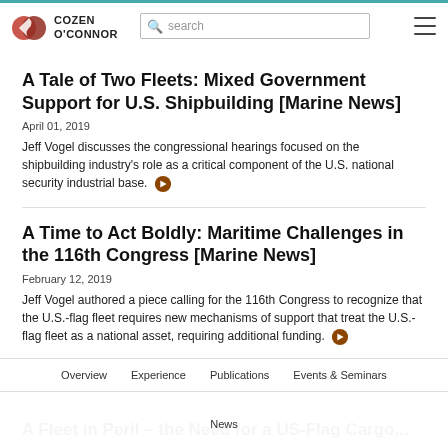Cozen O'Connor — search — navigation menu
A Tale of Two Fleets: Mixed Government Support for U.S. Shipbuilding [Marine News]
April 01, 2019
Jeff Vogel discusses the congressional hearings focused on the shipbuilding industry's role as a critical component of the U.S. national security industrial base.
A Time to Act Boldly: Maritime Challenges in the 116th Congress [Marine News]
February 12, 2019
Jeff Vogel authored a piece calling for the 116th Congress to recognize that the U.S.-flag fleet requires new mechanisms of support that treat the U.S.-flag fleet as an irreplaceable national asset, requiring additional funding.
A Fleet in Peril – the Need for a US-Flag Cargo...
Overview | Experience | Publications | Events & Seminars | News